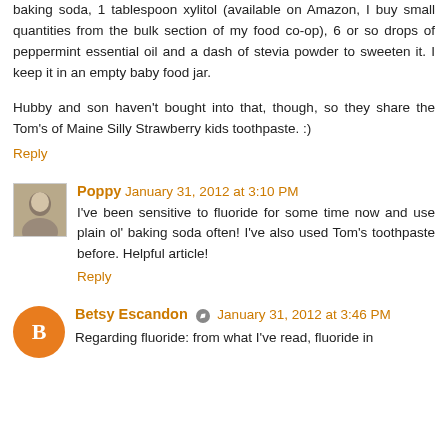baking soda, 1 tablespoon xylitol (available on Amazon, I buy small quantities from the bulk section of my food co-op), 6 or so drops of peppermint essential oil and a dash of stevia powder to sweeten it. I keep it in an empty baby food jar.
Hubby and son haven't bought into that, though, so they share the Tom's of Maine Silly Strawberry kids toothpaste. :)
Reply
Poppy  January 31, 2012 at 3:10 PM
I've been sensitive to fluoride for some time now and use plain ol' baking soda often! I've also used Tom's toothpaste before. Helpful article!
Reply
Betsy Escandon  January 31, 2012 at 3:46 PM
Regarding fluoride: from what I've read, fluoride in